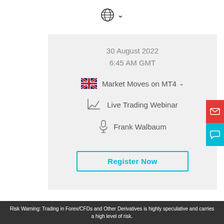[Figure (other): Globe/language selector icon with chevron dropdown arrow at top center of page]
30 August 2022
6:45 AM GMT
Market Moves on MT4
Live Trading Webinar
Frank Walbaum
Register Now
[Figure (other): Red email icon button on right sidebar]
[Figure (other): Teal chat/speech bubble icon button on right sidebar]
Risk Warning: Trading in Forex/CFDs and Other Derivatives is highly speculative and carries a high level of risk.